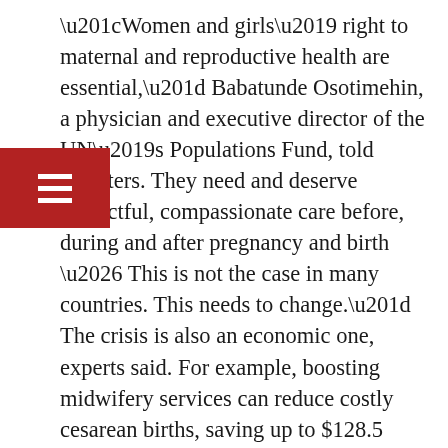“Women and girls’ right to maternal and reproductive health are essential,” Babatunde Osotimehin, a physician and executive director of the UN’s Populations Fund, told reporters. They need and deserve respectful, compassionate care before, during and after pregnancy and birth … This is not the case in many countries. This needs to change.” The crisis is also an economic one, experts said. For example, boosting midwifery services can reduce costly cesarean births, saving up to $128.5 million over three decades, Day-Stirk said. One country that has shown some gains is Bangladesh, where the government in 2010 launched an effort to train 3,000 midwives,